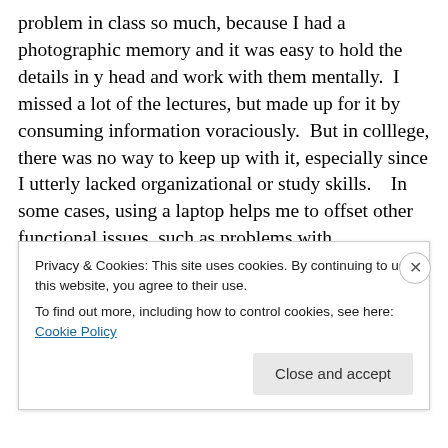problem in class so much, because I had a photographic memory and it was easy to hold the details in y head and work with them mentally.  I missed a lot of the lectures, but made up for it by consuming information voraciously.  But in colllege, there was no way to keep up with it, especially since I utterly lacked organizational or study skills.    In some cases, using a laptop helps me to offset other functional issues, such as problems with spontaneous social interactions, as the clicking of the keys are almost like stimming for me (also called stereotypy), and can be soothing when I am feeling sensory overloaded or
Privacy & Cookies: This site uses cookies. By continuing to use this website, you agree to their use.
To find out more, including how to control cookies, see here: Cookie Policy